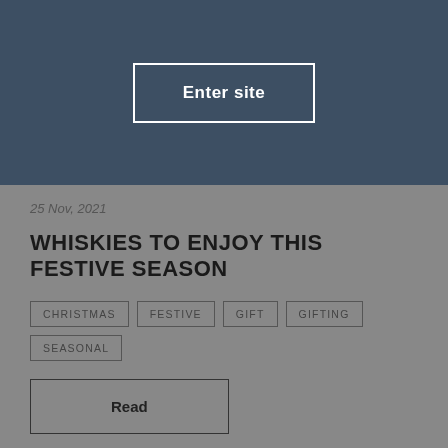[Figure (screenshot): Dark blue-grey banner with 'Enter site' button with white border]
25 Nov, 2021
WHISKIES TO ENJOY THIS FESTIVE SEASON
CHRISTMAS
FESTIVE
GIFT
GIFTING
SEASONAL
Read
[Figure (photo): Dark photo of whisky bottle with text 'SHARE A LITTLE' at bottom]